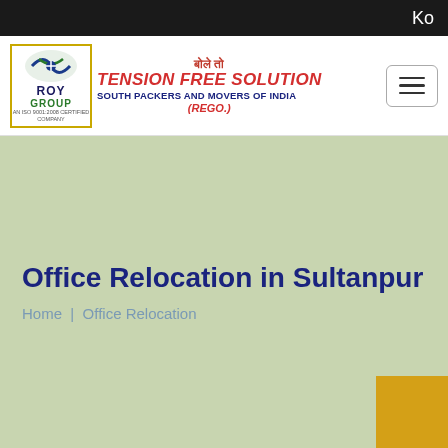Ko
[Figure (logo): Roy Group logo with blue arrow icon, ROY text, GROUP text in green, yellow border box with ISO certification text]
बोले तो TENSION FREE SOLUTION SOUTH PACKERS AND MOVERS OF INDIA (REGO.)
Office Relocation in Sultanpur
Home | Office Relocation